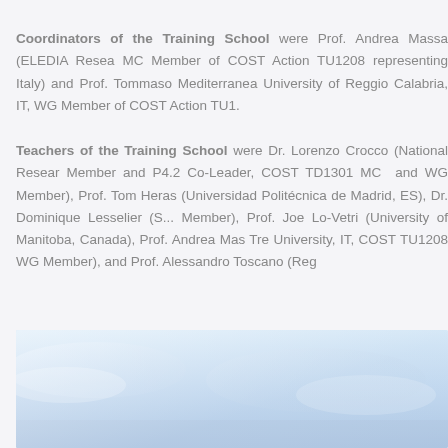Coordinators of the Training School were Prof. Andrea Massa (ELEDIA Rese... MC Member of COST Action TU1208 representing Italy) and Prof. Tommaso... Mediterranea University of Reggio Calabria, IT, WG Member of COST Action TU1...
Teachers of the Training School were Dr. Lorenzo Crocco (National Resea... Member and P4.2 Co-Leader, COST TD1301 MC  and WG Member), Prof. To... Heras (Universidad Politécnica de Madrid, ES), Dr. Dominique Lesselier (S... Member), Prof. Joe Lo-Vetri (University of Manitoba, Canada), Prof. Andrea Ma... Tre University, IT, COST TU1208 WG Member), and Prof. Alessandro Toscano (Re...
[Figure (photo): Partial photograph of an outdoor or event scene with light blue and white tones, possibly sky or building exterior.]